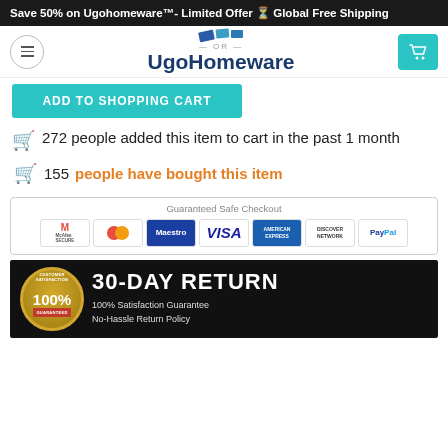Save 50% on Ugohomeware™- Limited Offer ⏳ Global Free Shipping
[Figure (logo): UgoHomeware logo with shopping cart button and hamburger menu]
ADD TO SHOPPING CART
272 people added this item to cart in the past 1 month
155 people have bought this item
[Figure (infographic): Guaranteed Safe Checkout section with payment method logos: McAfee Secure, MasterCard, Maestro, VISA, American Express, Discover Network, PayPal]
[Figure (infographic): 30-DAY RETURN banner with 100% Customer Satisfaction Guaranteed badge. Text: 100% Satisfaction Guarantee, No-Hassle Return Policy]